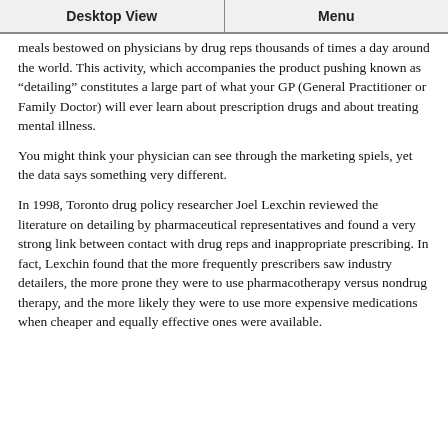Desktop View | Menu
meals bestowed on physicians by drug reps thousands of times a day around the world. This activity, which accompanies the product pushing known as “detailing” constitutes a large part of what your GP (General Practitioner or Family Doctor) will ever learn about prescription drugs and about treating mental illness.
You might think your physician can see through the marketing spiels, yet the data says something very different.
In 1998, Toronto drug policy researcher Joel Lexchin reviewed the literature on detailing by pharmaceutical representatives and found a very strong link between contact with drug reps and inappropriate prescribing. In fact, Lexchin found that the more frequently prescribers saw industry detailers, the more prone they were to use pharmacotherapy versus nondrug therapy, and the more likely they were to use more expensive medications when cheaper and equally effective ones were available.